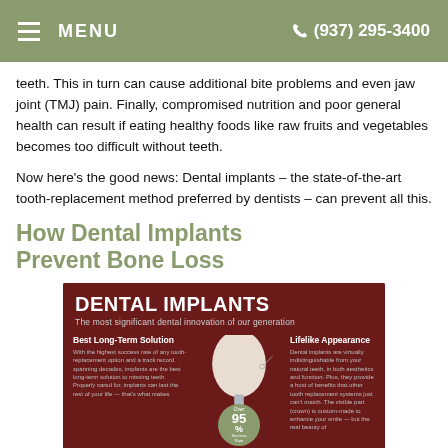MENU  (937) 295-3400
teeth. This in turn can cause additional bite problems and even jaw joint (TMJ) pain. Finally, compromised nutrition and poor general health can result if eating healthy foods like raw fruits and vegetables becomes too difficult without teeth.
Now here's the good news: Dental implants – the state-of-the-art tooth-replacement method preferred by dentists – can prevent all this.
How Dental Implants Prevent Bone Loss
[Figure (infographic): Dental Implants infographic. Title: DENTAL IMPLANTS. Subtitle: The most significant dental innovation of our generation. Left column: Best Long-Term Solution — With the highest success rate of any tooth-replacement option and a track record spanning decades, implants are the best long-term solution to missing teeth. Properly cared for, implants can last the rest of your life — that's what makes. Center: illustration of a dental implant/tooth, Over 95% success rate bubble. Right column: Lifelike Appearance — Dental implants are virtually indistinguishable from your natural teeth, in both aesthetics and function. Plus, they provide a host of benefits that other tooth replacement systems just can't match. The visible part (crown) is custom-made to enhance your smile — but the real beauty of]